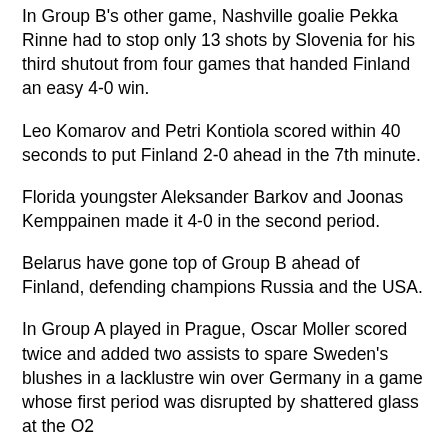In Group B's other game, Nashville goalie Pekka Rinne had to stop only 13 shots by Slovenia for his third shutout from four games that handed Finland an easy 4-0 win.
Leo Komarov and Petri Kontiola scored within 40 seconds to put Finland 2-0 ahead in the 7th minute.
Florida youngster Aleksander Barkov and Joonas Kemppainen made it 4-0 in the second period.
Belarus have gone top of Group B ahead of Finland, defending champions Russia and the USA.
In Group A played in Prague, Oscar Moller scored twice and added two assists to spare Sweden's blushes in a lacklustre win over Germany in a game whose first period was disrupted by shattered glass at the O2.